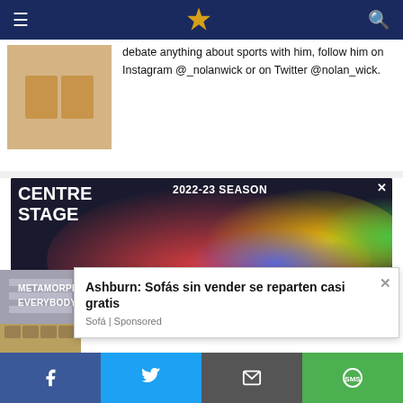Navigation bar with menu icon, site logo, and search icon
debate anything about sports with him, follow him on Instagram @_nolanwick or on Twitter @nolan_wick.
[Figure (illustration): Author photo placeholder — tan/beige colored rectangle]
[Figure (photo): Centre Stage 2022-23 Season advertisement with colorful paint splash background. Shows text: CENTRE STAGE, 2022-23 SEASON, METAMORPHOSES | CABARET | RENT, EVERYBODY | INTO THE WOODS]
[Figure (photo): Furniture store interior showing rows of sofas and chairs]
Ashburn: Sofás sin vender se reparten casi gratis
Sofá | Sponsored
Social share bar: Facebook, Twitter, Email, SMS